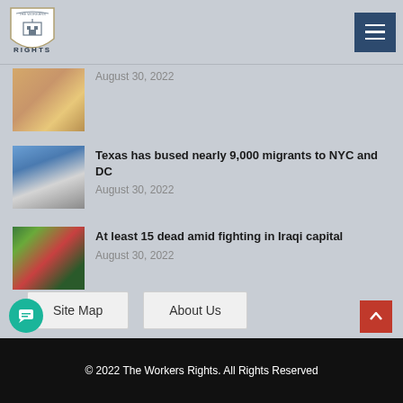The Workers Rights
August 30, 2022
Texas has bused nearly 9,000 migrants to NYC and DC
August 30, 2022
At least 15 dead amid fighting in Iraqi capital
August 30, 2022
Site Map
About Us
© 2022 The Workers Rights. All Rights Reserved